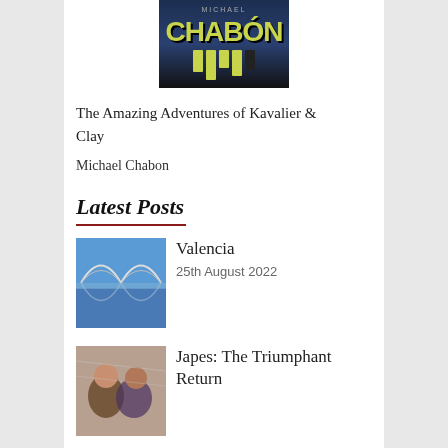[Figure (illustration): Book cover for The Amazing Adventures of Kavalier & Clay by Michael Chabon, featuring stylized yellow text on dark background with architectural/cityscape elements]
The Amazing Adventures of Kavalier & Clay
Michael Chabon
Latest Posts
[Figure (photo): Thumbnail photo of Valencia architecture, showing a modern white bridge or building reflected in water under blue sky]
Valencia
25th August 2022
[Figure (photo): Thumbnail photo of two women posing together, likely on a train or similar transport]
Japes: The Triumphant Return